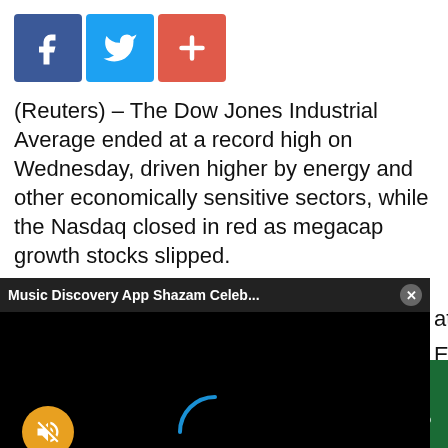[Figure (other): Social share buttons: Facebook (blue), Twitter (light blue), Plus/share (red-orange)]
(Reuters) – The Dow Jones Industrial Average ended at a record high on Wednesday, driven higher by energy and other economically sensitive sectors, while the Nasdaq closed in red as megacap growth stocks slipped.
[Figure (screenshot): Video player overlay showing 'Music Discovery App Shazam Celeb...' with close button (X), black screen with mute button (orange circle with speaker-off icon) and loading spinner arc in blue]
...Caterpillar and ...Energy and materials ..., leading gains ...e utilities and real
Sections | NY Edition | Philly | Games | Advertise | Sign Up